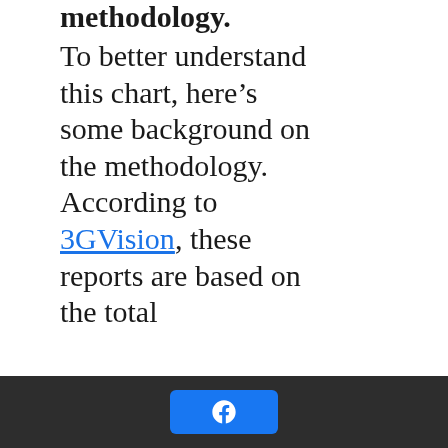methodology.
To better understand this chart, here's some background on the methodology. According to 3GVision, these reports are based on the total
[Facebook share button]